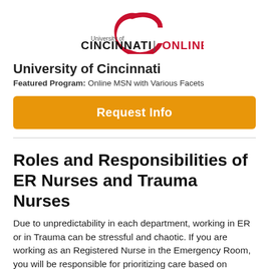[Figure (logo): University of Cincinnati Online logo with stylized UC monogram in red and black text]
University of Cincinnati
Featured Program: Online MSN with Various Facets
Request Info
Roles and Responsibilities of ER Nurses and Trauma Nurses
Due to unpredictability in each department, working in ER or in Trauma can be stressful and chaotic. If you are working as an Registered Nurse in the Emergency Room, you will be responsible for prioritizing care based on patients who have the highest need. You